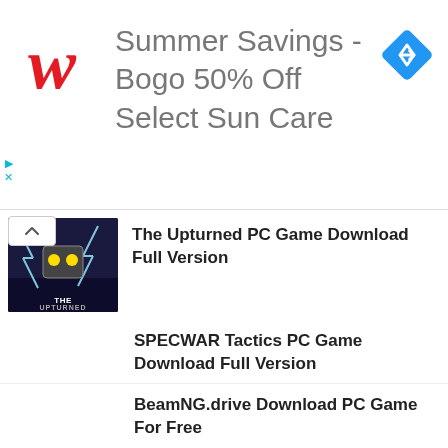[Figure (screenshot): Walgreens ad banner: Summer Savings - Bogo 50% Off Select Sun Care, with Walgreens red W logo and blue diamond navigation icon]
The Upturned PC Game Download Full Version
Stellar Monarch PC Game Download Full Version
SPECWAR Tactics PC Game Download Full Version
BeamNG.drive Download PC Game For Free